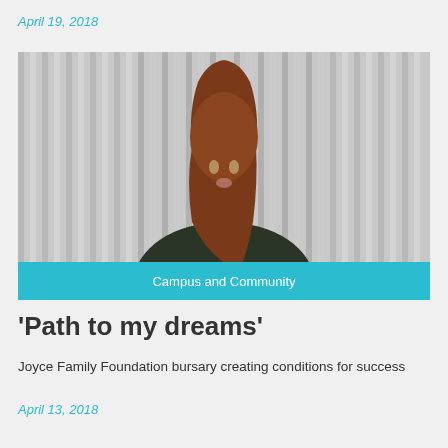April 19, 2018
[Figure (photo): Young woman with long wavy auburn hair smiling, wearing a dark turtleneck sweater, posed against a corrugated metal wall background]
Campus and Community
‘Path to my dreams’
Joyce Family Foundation bursary creating conditions for success
April 13, 2018